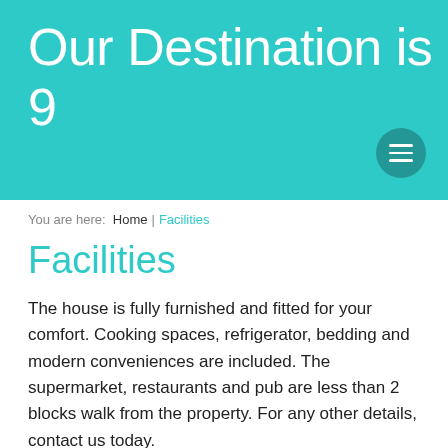Our Destination is 9
You are here: Home | Facilities
Facilities
The house is fully furnished and fitted for your comfort. Cooking spaces, refrigerator, bedding and modern conveniences are included. The supermarket, restaurants and pub are less than 2 blocks walk from the property. For any other details, contact us today.
Our facilities include:
All linen is provided (BYO beach towel).
Tea and coffee facilities including a plunger.